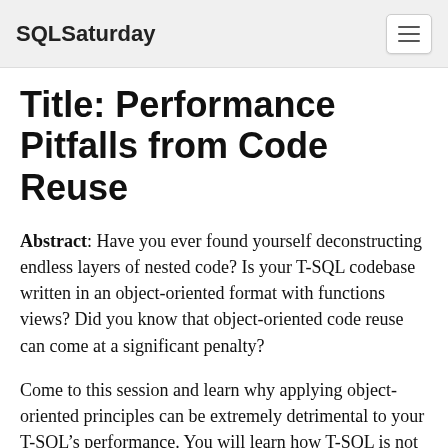SQLSaturday
Title: Performance Pitfalls from Code Reuse
Abstract: Have you ever found yourself deconstructing endless layers of nested code? Is your T-SQL codebase written in an object-oriented format with functions views? Did you know that object-oriented code reuse can come at a significant penalty?
Come to this session and learn why applying object-oriented principles can be extremely detrimental to your T-SQL’s performance. You will learn how T-SQL is not like other common